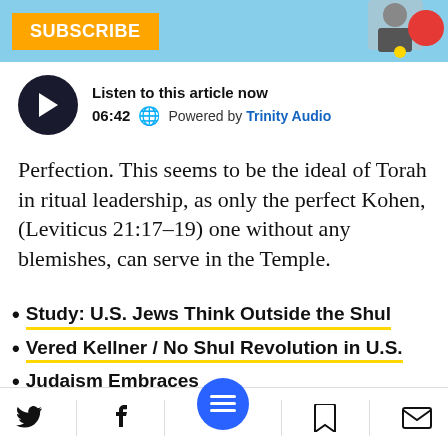SUBSCRIBE
[Figure (screenshot): Audio player widget: play button, duration 06:42, Powered by Trinity Audio]
Perfection. This seems to be the ideal of Torah in ritual leadership, as only the perfect Kohen, (Leviticus 21:17-19) one without any blemishes, can serve in the Temple.
Study: U.S. Jews Think Outside the Shul
Vered Kellner / No Shul Revolution in U.S.
Judaism Embraces [beings], Even in
Twitter | Facebook | Menu | Bookmark | Email